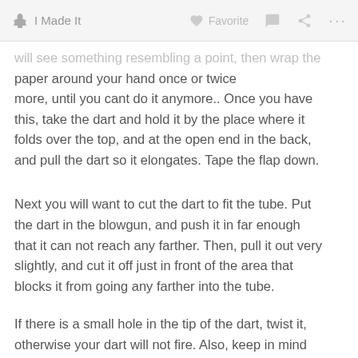I Made It   Favorite   [comment] [share] [...]
will see something resembling a point, then wrap the paper around your hand once or twice more, until you cant do it anymore.. Once you have this, take the dart and hold it by the place where it folds over the top, and at the open end in the back, and pull the dart so it elongates. Tape the flap down.
Next you will want to cut the dart to fit the tube. Put the dart in the blowgun, and push it in far enough that it can not reach any farther. Then, pull it out very slightly, and cut it off just in front of the area that blocks it from going any farther into the tube.
If there is a small hole in the tip of the dart, twist it, otherwise your dart will not fire. Also, keep in mind